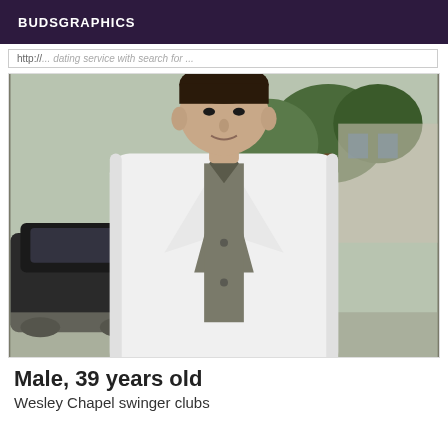BUDSGRAPHICS
http://... [partially visible URL]
[Figure (photo): A man wearing a white blazer over a grey/olive button-up shirt, standing outdoors near a dark car, with trees and a building in the background. Photo is cropped at the shoulders/head level showing face partially.]
Male, 39 years old
Wesley Chapel swinger clubs